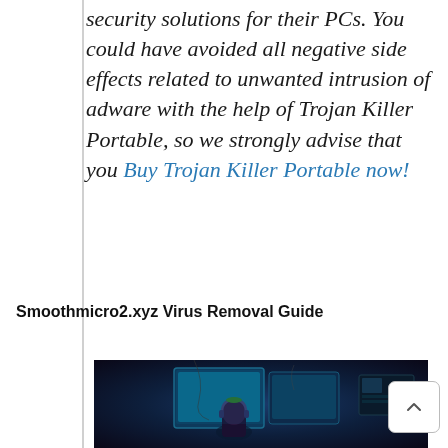security solutions for their PCs. You could have avoided all negative side effects related to unwanted intrusion of adware with the help of Trojan Killer Portable, so we strongly advise that you Buy Trojan Killer Portable now!
Smoothmicro2.xyz Virus Removal Guide
[Figure (illustration): Anime-style illustration of a hacker character with headphones sitting in front of multiple computer monitors in a dark cyberpunk room]